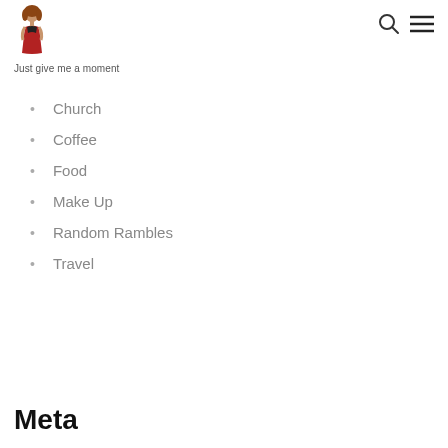[Figure (illustration): Woman in red dress logo/avatar for blog]
Just give me a moment
Church
Coffee
Food
Make Up
Random Rambles
Travel
Meta